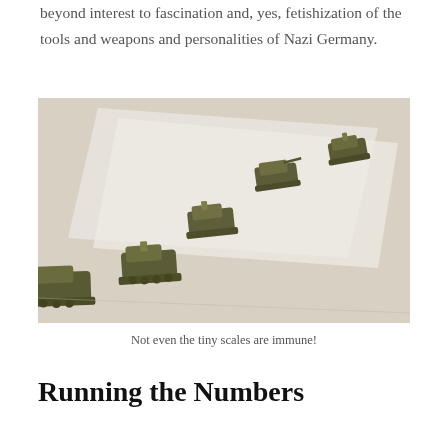beyond interest to fascination and, yes, fetishization of the tools and weapons and personalities of Nazi Germany.
[Figure (photo): Five small olive-green military tank miniature models arranged diagonally on a white surface, photographed from above at an angle.]
Not even the tiny scales are immune!
Running the Numbers